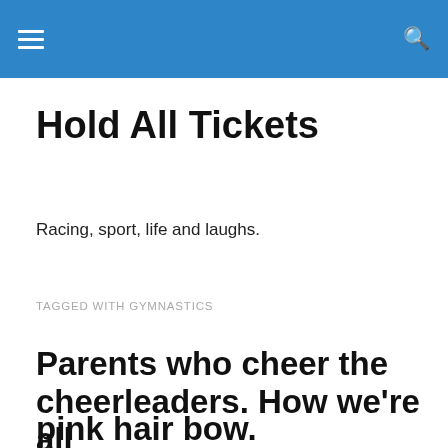Hold All Tickets – menu and search bar
Hold All Tickets
Racing, sport, life and laughs.
TAGGED WITH GYMNASTICS
Parents who cheer the cheerleaders. How we're all
Privacy & Cookies: This site uses cookies. By continuing to use this website, you agree to their use.
To find out more, including how to control cookies, see here: Cookie Policy
pink hair bow.